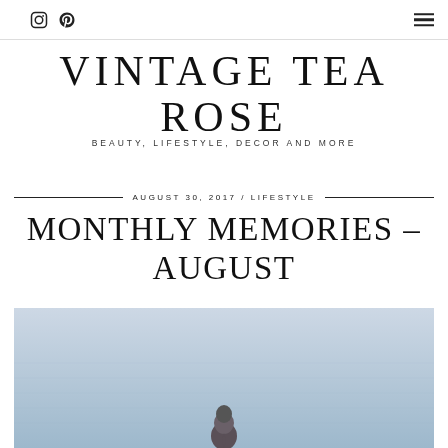Instagram | Pinterest | Menu
VINTAGE TEA ROSE
BEAUTY, LIFESTYLE, DECOR AND MORE
AUGUST 30, 2017 / LIFESTYLE
MONTHLY MEMORIES – AUGUST
[Figure (photo): Person with braided hair seen from behind, standing in or near calm blue-grey water]